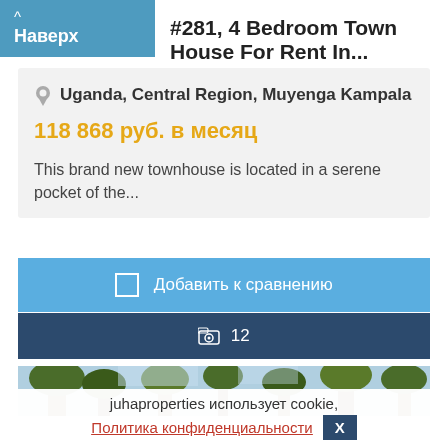^ Наверх
#281, 4 Bedroom Town House For Rent In...
Uganda, Central Region, Muyenga Kampala
118 868 руб. в месяц
This brand new townhouse is located in a serene pocket of the...
Добавить к сравнению
12
[Figure (photo): Outdoor photo showing trees and sky]
juhaproperties использует cookie,
Политика конфиденциальности   X